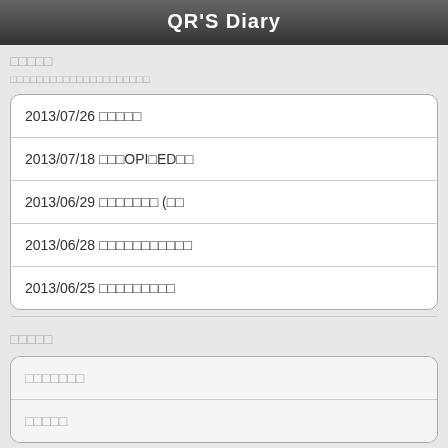QR'S Diary
□□□□□
□□□□□□□□□□□□□□□□□□□□□
2013/07/26 □□□□□
2013/07/18 □□□OPI□ED□□
2013/06/29 □□□□□□□ (□□
2013/06/28 □□□□□□□□□□□
2013/06/25 □□□□□□□□□
□□□□□
□□□□□□□
□□□□□